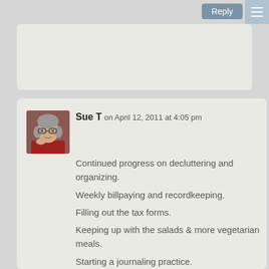[Figure (other): Reply button (blue-grey) and hamburger menu icon on top bar]
[Figure (photo): Avatar photo of Sue T, an older woman with glasses]
Sue T on April 12, 2011 at 4:05 pm
Continued progress on decluttering and organizing.
Weekly billpaying and recordkeeping.
Filling out the tax forms.
Keeping up with the salads & more vegetarian meals.
Starting a journaling practice.
Make a list of actions for the household projects folder.
Getting started on the yard and garden.
Set start dates for several other planned activities.